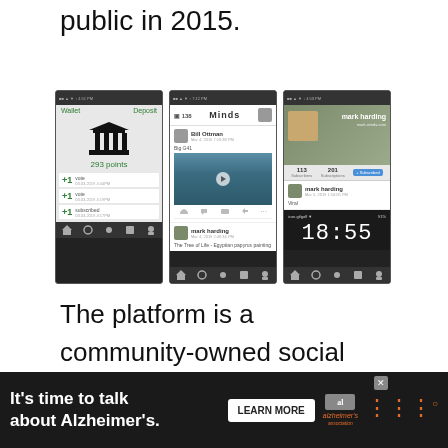public in 2015.
[Figure (screenshot): Three mobile app screenshots showing: (1) a Minds wallet screen with 293 points and +1 activity items, (2) a Minds social feed with a post by Bill Ottman and mark harding showing a coastal cliff video, (3) a Minds profile page for mark harding with subscriber stats and a clock showing 18:55]
The platform is a community-owned social networking platform that rewards its users for their activity online, similar to the Steemit p...
[Figure (screenshot): Advertisement banner: It's time to talk about Alzheimer's. LEARN MORE. Alzheimer's association logo.]